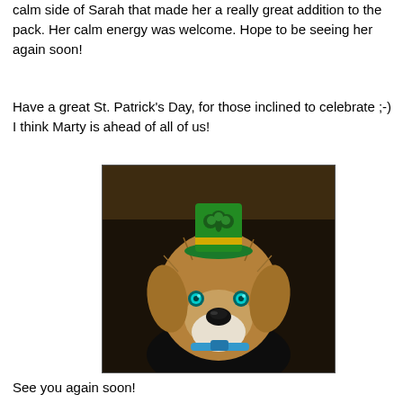calm side of Sarah that made her a really great addition to the pack. Her calm energy was welcome. Hope to be seeing her again soon!
Have a great St. Patrick's Day, for those inclined to celebrate ;-) I think Marty is ahead of all of us!
[Figure (photo): A scruffy terrier dog wearing a small green St. Patrick's Day hat with a shamrock on it, looking directly at the camera with teal-glowing eyes, wearing a blue collar, against a dark background.]
See you again soon!